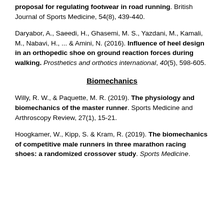proposal for regulating footwear in road running. British Journal of Sports Medicine, 54(8), 439-440.
Daryabor, A., Saeedi, H., Ghasemi, M. S., Yazdani, M., Kamali, M., Nabavi, H., ... & Amini, N. (2016). Influence of heel design in an orthopedic shoe on ground reaction forces during walking. Prosthetics and orthotics international, 40(5), 598-605.
Biomechanics
Willy, R. W., & Paquette, M. R. (2019). The physiology and biomechanics of the master runner. Sports Medicine and Arthroscopy Review, 27(1), 15-21.
Hoogkamer, W., Kipp, S. & Kram, R. (2019). The biomechanics of competitive male runners in three marathon racing shoes: a randomized crossover study. Sports Medicine.